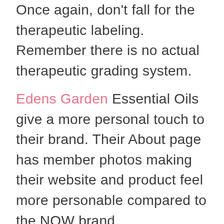Once again, don't fall for the therapeutic labeling. Remember there is no actual therapeutic grading system.
Edens Garden Essential Oils give a more personal touch to their brand. Their About page has member photos making their website and product feel more personable compared to the NOW brand.
x